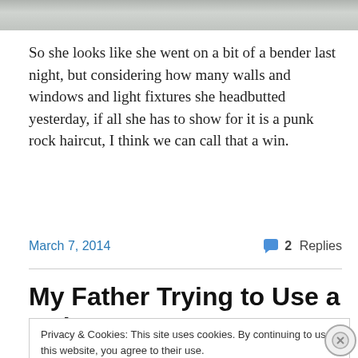[Figure (photo): Partial view of a photo showing curtains or window area, cropped at top of page]
So she looks like she went on a bit of a bender last night, but considering how many walls and windows and light fixtures she headbutted yesterday, if all she has to show for it is a punk rock haircut, I think we can call that a win.
March 7, 2014
2 Replies
My Father Trying to Use a Hula
Privacy & Cookies: This site uses cookies. By continuing to use this website, you agree to their use.
To find out more, including how to control cookies, see here: Cookie Policy
Close and accept